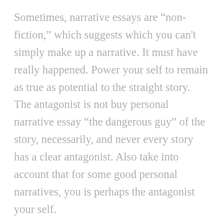Sometimes, narrative essays are “non-fiction,” which suggests which you can't simply make up a narrative. It must have really happened. Power your self to remain as true as potential to the straight story. The antagonist is not buy personal narrative essay “the dangerous guy” of the story, necessarily, and never every story has a clear antagonist. Also take into account that for some good personal narratives, you is perhaps the antagonist your self.
However unlike a simple work of inventive fiction, your narrative essay must have a transparent and concrete motif—a recurring theme or concept that you'll explore all through buy narrative essays online. Narrative essays are less inflexible, more inventive in